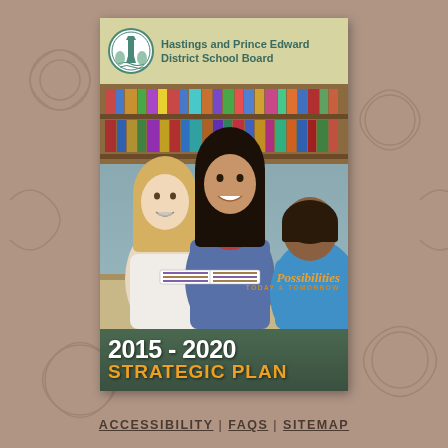[Figure (illustration): Cover page of the Hastings and Prince Edward District School Board 2015-2020 Strategic Plan. Shows three students (two girls and a boy) reading together in a library setting. The cover includes the school board logo and name at the top, a tagline 'Possibilities TODAY & TOMORROW', and the text '2015 - 2020 STRATEGIC PLAN' in large bold text at the bottom.]
ACCESSIBILITY | FAQS | SITEMAP